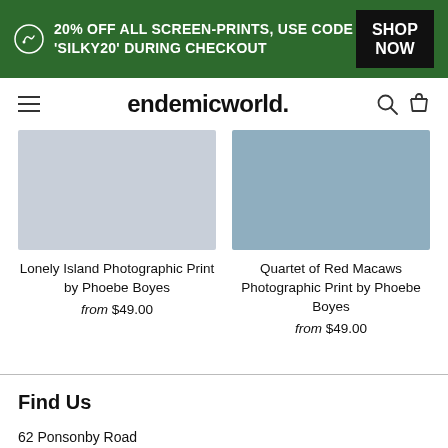20% OFF ALL SCREEN-PRINTS, USE CODE 'SILKY20' DURING CHECKOUT  SHOP NOW
endemicworld.
[Figure (photo): Product image placeholder for Lonely Island Photographic Print - light grey/blue rectangle]
Lonely Island Photographic Print by Phoebe Boyes
from $49.00
[Figure (photo): Product image placeholder for Quartet of Red Macaws Photographic Print - medium blue/grey rectangle]
Quartet of Red Macaws Photographic Print by Phoebe Boyes
from $49.00
Find Us
62 Ponsonby Road
Grey Lynn, Auckland